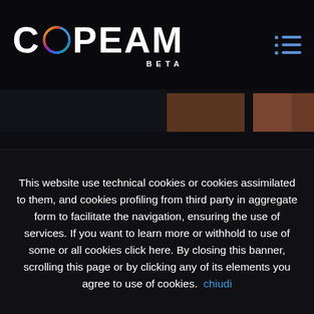[Figure (logo): COPEAM logo with colorful circular ring on the 'O', followed by 'PEAM' in white bold text, with 'BETA' in small caps below. Dark navy background.]
[Figure (photo): Dark photograph showing partial view of some structure, mostly dark with brown/reddish rectangular sections visible at the top.]
This website use technical cookies or cookies assimilated to them, and cookies profiling from third party in aggregate form to facilitate the navigation, ensuring the use of services. If you want to learn more or withhold to use of some or all cookies click here. By closing this banner, scrolling this page or by clicking any of its elements you agree to use of cookies. chiudi